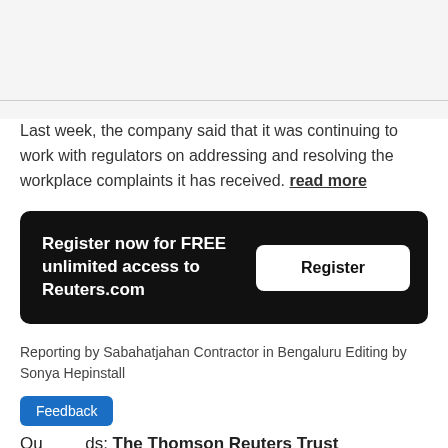Last week, the company said that it was continuing to work with regulators on addressing and resolving the workplace complaints it has received. read more
[Figure (other): Black rounded rectangle box with white text 'Register now for FREE unlimited access to Reuters.com' and a white 'Register' button on the right.]
Reporting by Sabahatjahan Contractor in Bengaluru Editing by Sonya Hepinstall
Feedback
Ou ds: The Thomson Reuters Trust